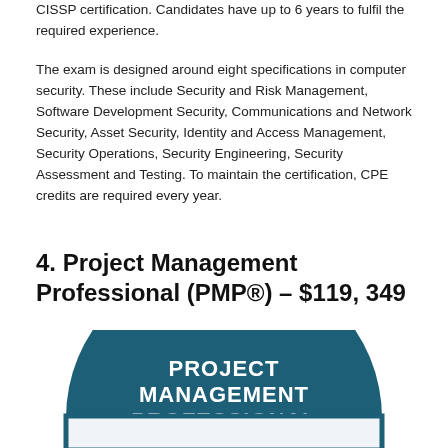CISSP certification. Candidates have up to 6 years to fulfil the required experience.
The exam is designed around eight specifications in computer security. These include Security and Risk Management, Software Development Security, Communications and Network Security, Asset Security, Identity and Access Management, Security Operations, Security Engineering, Security Assessment and Testing. To maintain the certification, CPE credits are required every year.
4. Project Management Professional (PMP®) – $119, 349
[Figure (illustration): A circular badge/logo for Project Management Professional certification. Dark teal semicircle at the top with white bold text reading PROJECT MANAGEMENT PROFESSIONAL, and a lighter rectangular/rectangular banner below.]